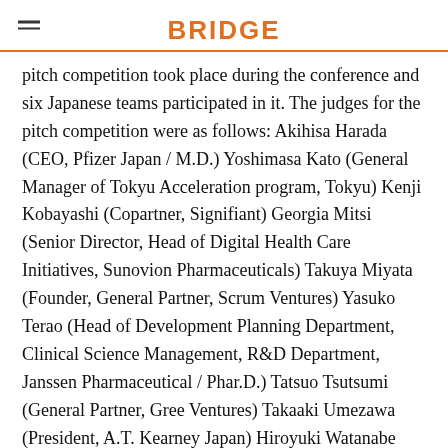BRIDGE
pitch competition took place during the conference and six Japanese teams participated in it. The judges for the pitch competition were as follows: Akihisa Harada (CEO, Pfizer Japan / M.D.) Yoshimasa Kato (General Manager of Tokyu Acceleration program, Tokyu) Kenji Kobayashi (Copartner, Signifiant) Georgia Mitsi (Senior Director, Head of Digital Health Care Initiatives, Sunovion Pharmaceuticals) Takuya Miyata (Founder, General Partner, Scrum Ventures) Yasuko Terao (Head of Development Planning Department, Clinical Science Management, R&D Department, Janssen Pharmaceutical / Phar.D.) Tatsuo Tsutsumi (General Partner, Gree Ventures) Takaaki Umezawa (President, A.T. Kearney Japan) Hiroyuki Watanabe (Managing Director, Digital